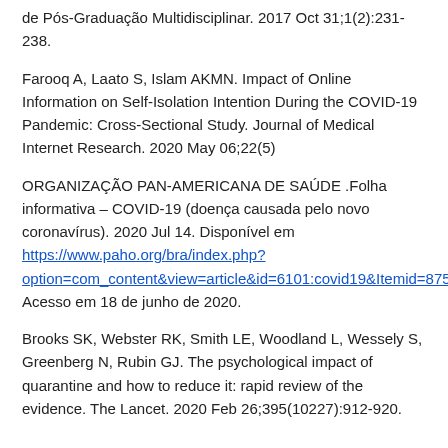de Pós-Graduação Multidisciplinar. 2017 Oct 31;1(2):231-238.
Farooq A, Laato S, Islam AKMN. Impact of Online Information on Self-Isolation Intention During the COVID-19 Pandemic: Cross-Sectional Study. Journal of Medical Internet Research. 2020 May 06;22(5)
ORGANIZAÇÃO PAN-AMERICANA DE SAÚDE .Folha informativa – COVID-19 (doença causada pelo novo coronavírus). 2020 Jul 14. Disponível em https://www.paho.org/bra/index.php?option=com_content&view=article&id=6101:covid19&Itemid=875 Acesso em 18 de junho de 2020.
Brooks SK, Webster RK, Smith LE, Woodland L, Wessely S, Greenberg N, Rubin GJ. The psychological impact of quarantine and how to reduce it: rapid review of the evidence. The Lancet. 2020 Feb 26;395(10227):912-920.